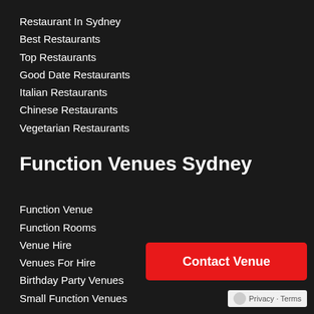Restaurant In Sydney
Best Restaurants
Top Restaurants
Good Date Restaurants
Italian Restaurants
Chinese Restaurants
Vegetarian Restaurants
Function Venues Sydney
Function Venue
Function Rooms
Venue Hire
Venues For Hire
Birthday Party Venues
Small Function Venues
Contact Venue
Privacy · Terms